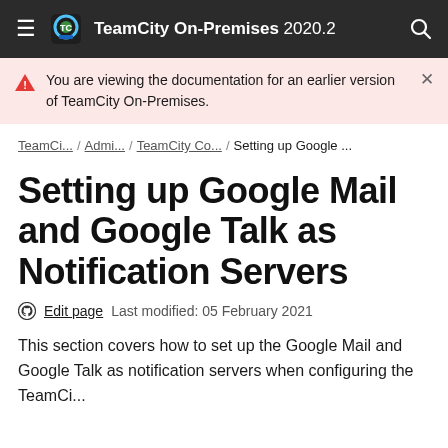TeamCity On-Premises 2020.2
You are viewing the documentation for an earlier version of TeamCity On-Premises.
TeamCi... / Admi... / TeamCity Co... / Setting up Google ...
Setting up Google Mail and Google Talk as Notification Servers
Edit page   Last modified: 05 February 2021
This section covers how to set up the Google Mail and Google Talk as notification servers when configuring the TeamCi...